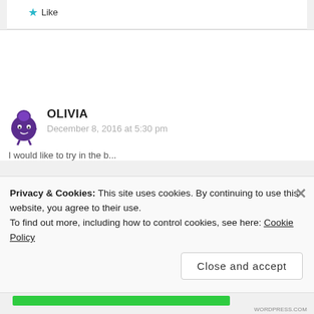[Figure (illustration): Star/Like button with teal star icon and 'Like' label]
[Figure (illustration): User avatar: cartoon monster character (purple, round) for commenter OLIVIA]
OLIVIA
December 8, 2016 at 5:30 pm
Privacy & Cookies: This site uses cookies. By continuing to use this website, you agree to their use.
To find out more, including how to control cookies, see here: Cookie Policy
Close and accept